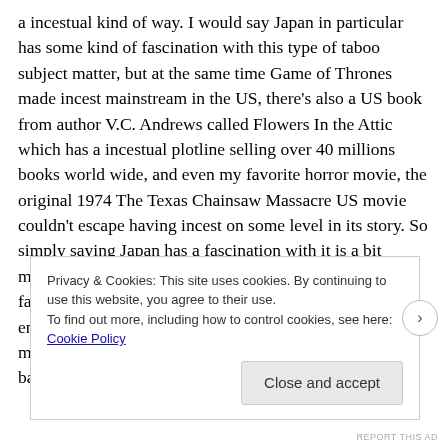a incestual kind of way. I would say Japan in particular has some kind of fascination with this type of taboo subject matter, but at the same time Game of Thrones made incest mainstream in the US, there's also a US book from author V.C. Andrews called Flowers In the Attic which has a incestual plotline selling over 40 millions books world wide, and even my favorite horror movie, the original 1974 The Texas Chainsaw Massacre US movie couldn't escape having incest on some level in its story. So simply saying Japan has a fascination with it is a bit misleading when I also live in a place that is just as fascinated by it as Japan. However, from what I've encounter, incest is typically a sign that whatever piece of media you're going to consume is likely going to turn out bad since it's k
Privacy & Cookies: This site uses cookies. By continuing to use this website, you agree to their use.
To find out more, including how to control cookies, see here: Cookie Policy
Close and accept
REPORT THIS AD